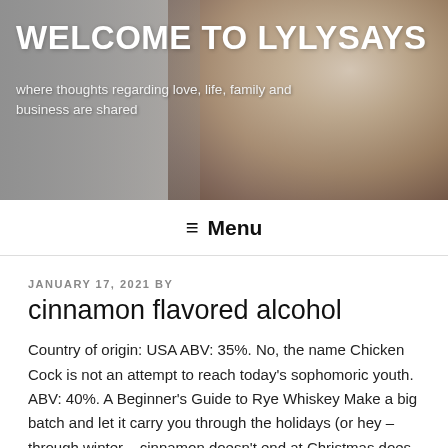[Figure (photo): Header banner with a couple embracing, partially obscured by a grey overlay with white text overlaid on top.]
WELCOME TO LYLYSAYS
where thoughts regarding love, life, family and business are shared
≡ Menu
JANUARY 17, 2021 BY
cinnamon flavored alcohol
Country of origin: USA ABV: 35%. No, the name Chicken Cock is not an attempt to reach today's sophomoric youth. ABV: 40%. A Beginner's Guide to Rye Whiskey Make a big batch and let it carry you through the holidays (or hey – through winter – cinnamon doesn't end at Christmas does it?) liquorama.net. Bessame. Canada's 8 Seconds blends their signature whisky with natural